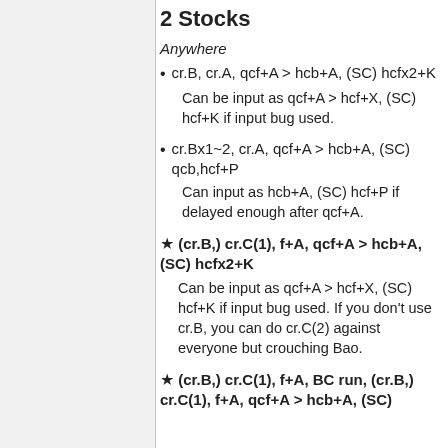2 Stocks
Anywhere
cr.B, cr.A, qcf+A > hcb+A, (SC) hcfx2+K
Can be input as qcf+A > hcf+X, (SC) hcf+K if input bug used.
cr.Bx1~2, cr.A, qcf+A > hcb+A, (SC) qcb,hcf+P
Can input as hcb+A, (SC) hcf+P if delayed enough after qcf+A.
★ (cr.B,) cr.C(1), f+A, qcf+A > hcb+A, (SC) hcfx2+K
Can be input as qcf+A > hcf+X, (SC) hcf+K if input bug used. If you don't use cr.B, you can do cr.C(2) against everyone but crouching Bao.
★ (cr.B,) cr.C(1), f+A, BC run, (cr.B,) cr.C(1), f+A, qcf+A > hcb+A, (SC)